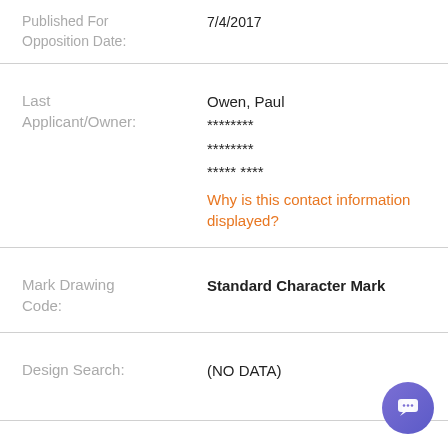Published For Opposition Date: 7/4/2017
Last Applicant/Owner: Owen, Paul ******** ******** ***** ****
Why is this contact information displayed?
Mark Drawing Code: Standard Character Mark
Design Search: (NO DATA)
Register Type: Principal